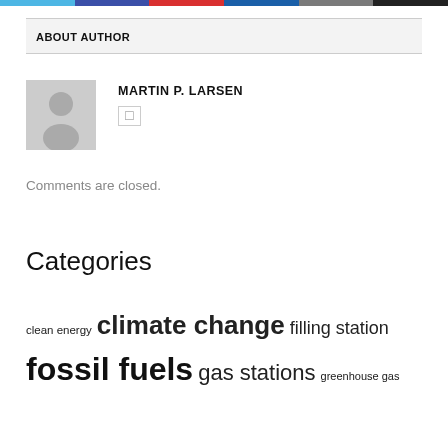ABOUT AUTHOR
MARTIN P. LARSEN
Comments are closed.
Categories
clean energy  climate change  filling station  fossil fuels  gas stations  greenhouse gas